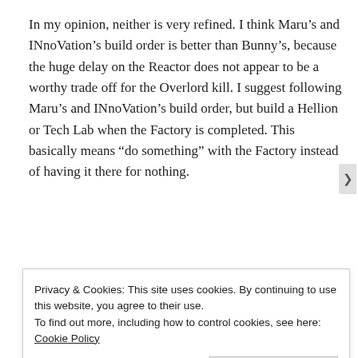In my opinion, neither is very refined. I think Maru's and INnoVation's build order is better than Bunny's, because the huge delay on the Reactor does not appear to be a worthy trade off for the Overlord kill. I suggest following Maru's and INnoVation's build order, but build a Hellion or Tech Lab when the Factory is completed. This basically means “do something” with the Factory instead of having it there for nothing.
The delayed Reactor leads to delayed Reactor Hellion production, and this means the mineral spent on the two
Privacy & Cookies: This site uses cookies. By continuing to use this website, you agree to their use.
To find out more, including how to control cookies, see here: Cookie Policy
Close and accept